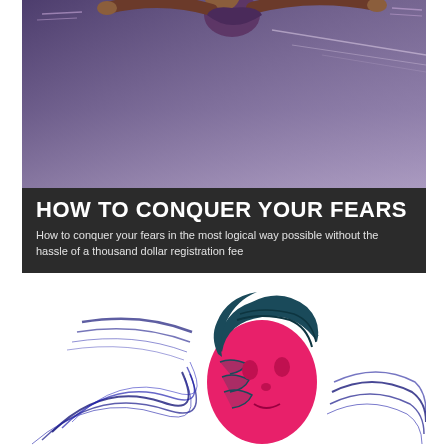[Figure (illustration): Illustration of a person running or flying over a purple gradient background, top portion cropped showing just the upper body and arms outstretched with motion lines]
HOW TO CONQUER YOUR FEARS
How to conquer your fears in the most logical way possible without the hassle of a thousand dollar registration fee
[Figure (illustration): Stylized illustration of a person (head bowed) with flowing dark teal hair and swirling abstract lines in dark blue/navy around them, with a bright pink/magenta face, set against a white background]